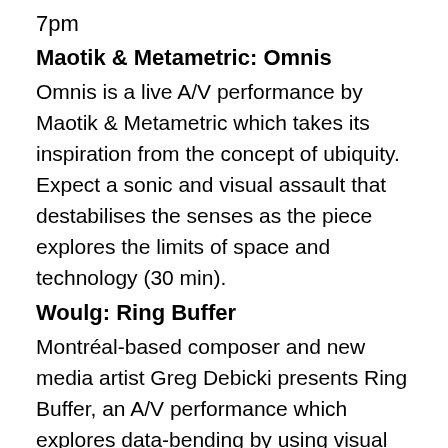7pm
Maotik & Metametric: Omnis
Omnis is a live A/V performance by Maotik & Metametric which takes its inspiration from the concept of ubiquity. Expect a sonic and visual assault that destabilises the senses as the piece explores the limits of space and technology (30 min).
Woulg: Ring Buffer
Montréal-based composer and new media artist Greg Debicki presents Ring Buffer, an A/V performance which explores data-bending by using visual sculpturing software and transforming generated 3D shapes into sound (40 min).
9.30pm